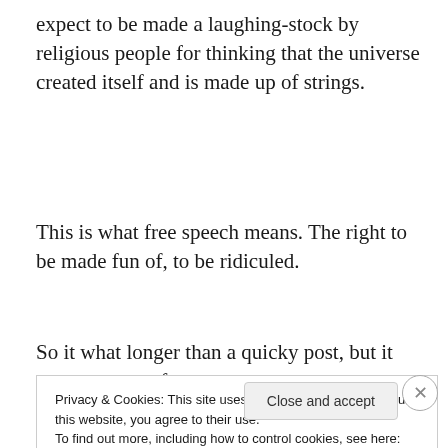expect to be made a laughing-stock by religious people for thinking that the universe created itself and is made up of strings.
This is what free speech means. The right to be made fun of, to be ridiculed.
So it what longer than a quicky post, but it was a stream of
Privacy & Cookies: This site uses cookies. By continuing to use this website, you agree to their use.
To find out more, including how to control cookies, see here: Cookie Policy
Close and accept